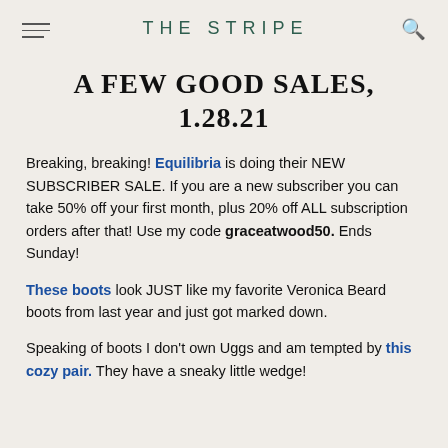THE STRIPE
A FEW GOOD SALES, 1.28.21
Breaking, breaking! Equilibria is doing their NEW SUBSCRIBER SALE. If you are a new subscriber you can take 50% off your first month, plus 20% off ALL subscription orders after that! Use my code graceatwood50. Ends Sunday!
These boots look JUST like my favorite Veronica Beard boots from last year and just got marked down.
Speaking of boots I don't own Uggs and am tempted by this cozy pair. They have a sneaky little wedge!